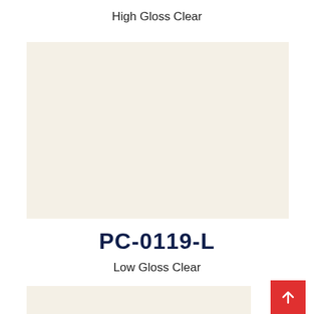High Gloss Clear
[Figure (other): Color swatch showing a light cream/off-white color (high gloss clear)]
PC-0119-L
Low Gloss Clear
[Figure (other): Color swatch showing a light cream/off-white color (low gloss clear), partially visible at bottom]